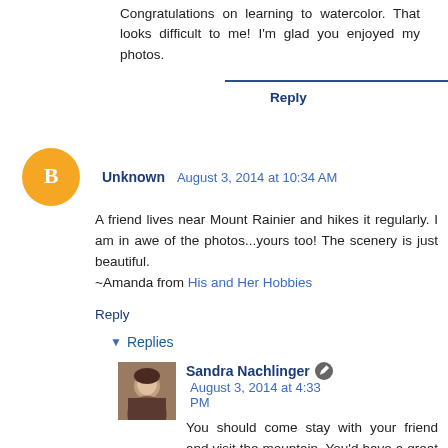Congratulations on learning to watercolor. That looks difficult to me! I'm glad you enjoyed my photos.
Reply
Unknown August 3, 2014 at 10:34 AM
A friend lives near Mount Rainier and hikes it regularly. I am in awe of the photos...yours too! The scenery is just beautiful.
~Amanda from His and Her Hobbies
Reply
Replies
Sandra Nachlinger August 3, 2014 at 4:33 PM
You should come stay with your friend and visit the mountain. You'd have a great time.
Thanks for stopping by.